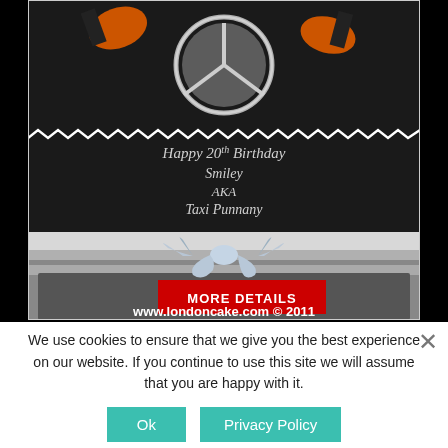[Figure (photo): A black fondant birthday cake with Mercedes-Benz star logo on top, decorated with orange and black figurine gloves/handles, white zig-zag piping border, silver ribbon bow, text reading 'Happy 20th Birthday Smiley AKA Taxi Punnany' in white script, and watermark 'www.londoncake.com © 2011'. A red 'MORE DETAILS' button overlay is present on the image.]
We use cookies to ensure that we give you the best experience on our website. If you continue to use this site we will assume that you are happy with it.